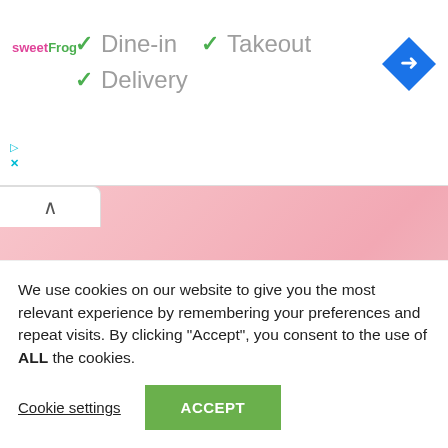[Figure (logo): sweetFrog logo in pink and green text]
✓ Dine-in  ✓ Takeout
✓ Delivery
[Figure (illustration): Blue diamond navigation/directions icon with white right-turn arrow]
[Figure (map): Pink gradient map area showing a location]
We use cookies on our website to give you the most relevant experience by remembering your preferences and repeat visits. By clicking “Accept”, you consent to the use of ALL the cookies.
Cookie settings
ACCEPT